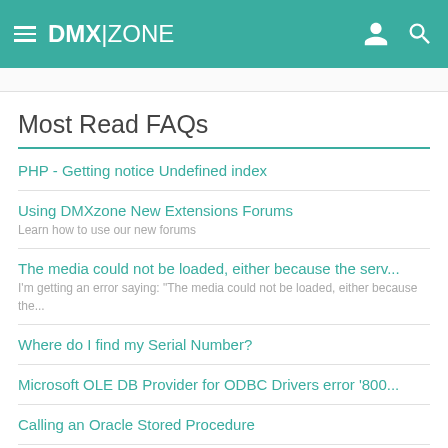DMX|ZONE
Most Read FAQs
PHP - Getting notice Undefined index
Using DMXzone New Extensions Forums
Learn how to use our new forums
The media could not be loaded, either because the serv...
I'm getting an error saying: "The media could not be loaded, either because the...
Where do I find my Serial Number?
Microsoft OLE DB Provider for ODBC Drivers error '800...
Calling an Oracle Stored Procedure